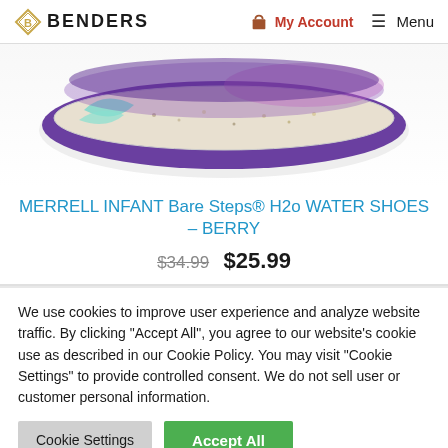BENDERS — My Account — Menu
[Figure (photo): Bottom sole view of a Merrell Infant Bare Steps H2o Water Shoe in Berry color — purple, teal, and light-colored speckled sole visible from below]
MERRELL INFANT Bare Steps® H2o WATER SHOES – BERRY
$34.99  $25.99
We use cookies to improve user experience and analyze website traffic. By clicking "Accept All", you agree to our website's cookie use as described in our Cookie Policy. You may visit "Cookie Settings" to provide controlled consent. We do not sell user or customer personal information.
Cookie Settings   Accept All